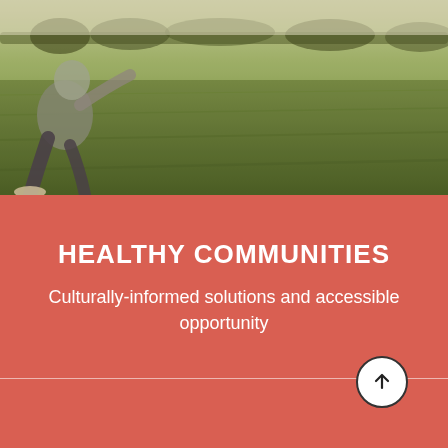[Figure (photo): Person running or playing on a large green grass field, photographed from ground level. Trees visible in the background along the horizon. Vintage/warm photo filter applied.]
HEALTHY COMMUNITIES
Culturally-informed solutions and accessible opportunity
[Figure (other): White circle button with an upward-pointing arrow, positioned at the boundary between the upper and lower red sections.]